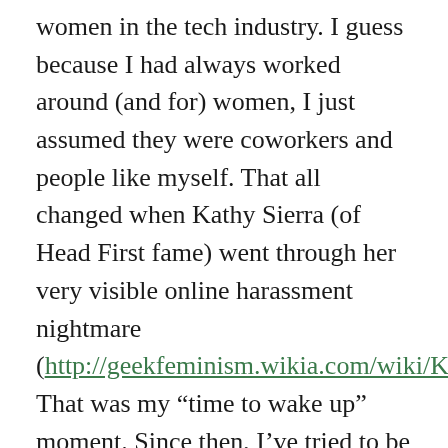women in the tech industry. I guess because I had always worked around (and for) women, I just assumed they were coworkers and people like myself. That all changed when Kathy Sierra (of Head First fame) went through her very visible online harassment nightmare (http://geekfeminism.wikia.com/wiki/Kathy_Sierra_incident). That was my “time to wake up” moment. Since then, I’ve tried to be *much* more aware of intimidation and sexism in the workplace (and specifically in IT) and step up to say something when and